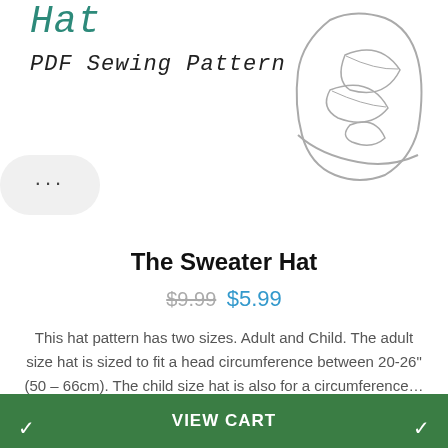Hat
PDF Sewing Pattern
[Figure (illustration): Line drawing illustration of a hat with leaf/floral pattern on the right side of the page]
[Figure (other): Rounded rectangle button with three dots (ellipsis) on the left side]
The Sweater Hat
$9.99 $5.99
This hat pattern has two sizes. Adult and Child. The adult size hat is sized to fit a head circumference between 20-26" (50 – 66cm). The child size hat is also for a circumference of...
VIEW CART